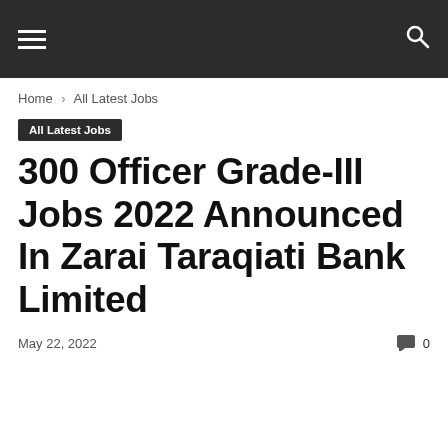Navigation bar with hamburger menu and search icon
Home › All Latest Jobs
All Latest Jobs
300 Officer Grade-III Jobs 2022 Announced In Zarai Taraqiati Bank Limited
May 22, 2022  0